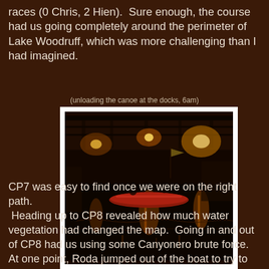races (0 Chris, 2 Hien).  Sure enough, the course had us going completely around the perimeter of Lake Woodruff, which was more challenging than I had imagined.
(unloading the canoe at the docks, 6am)
[Figure (photo): A nighttime photo of a dock with boats on dark water. A red canoe is visible in the center. Warm orange and yellow lights reflect on the water. The scene appears to be early morning in low light conditions.]
CP7 was easy to find once we were on the right path.  Heading up to CP8 revealed how much water vegetation had changed the map.  Going in and out of CP8 had us using some Canyonero brute force.  At one point, Roda jumped out of the boat to try to pull it over to the CP punch-- he fell right in almost water over head.